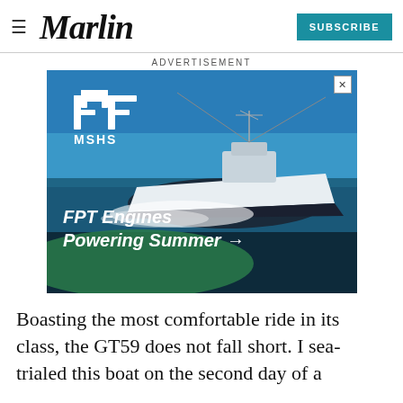Marlin | SUBSCRIBE
ADVERTISEMENT
[Figure (photo): MSHS / FPT Engines advertisement showing a sport fishing boat on water with the text 'FPT Engines Powering Summer →']
Boasting the most comfortable ride in its class, the GT59 does not fall short. I sea-trialed this boat on the second day of a